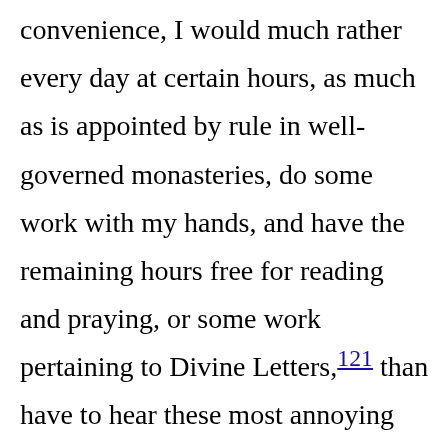that so far as it concerns mine own convenience, I would much rather every day at certain hours, as much as is appointed by rule in well-governed monasteries, do some work with my hands, and have the remaining hours free for reading and praying, or some work pertaining to Divine Letters,121 than have to hear these most annoying perplexities of other men's causes about secular matters, which we must either by adjudication bring to an end, or by intervention cut short. Which troubles